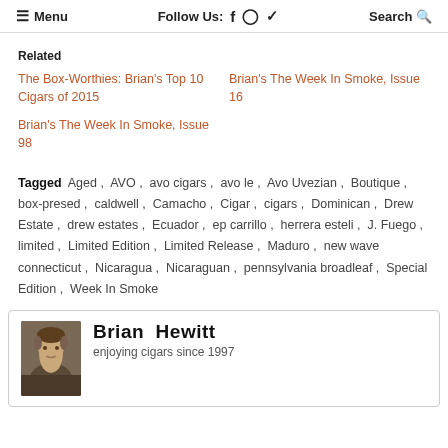≡ Menu   Follow Us: f ⓘ 🐦   Search 🔍
Related
The Box-Worthies: Brian's Top 10 Cigars of 2015
Brian's The Week In Smoke, Issue 16
Brian's The Week In Smoke, Issue 98
Tagged  Aged ,  AVO ,  avo cigars ,  avo le ,  Avo Uvezian ,  Boutique ,  box-presed ,  caldwell ,  Camacho ,  Cigar ,  cigars ,  Dominican ,  Drew Estate ,  drew estates ,  Ecuador ,  ep carrillo ,  herrera esteli ,  J. Fuego ,  limited ,  Limited Edition ,  Limited Release ,  Maduro ,  new wave connecticut ,  Nicaragua ,  Nicaraguan ,  pennsylvania broadleaf ,  Special Edition ,  Week In Smoke
Brian Hewitt
enjoying cigars since 1997